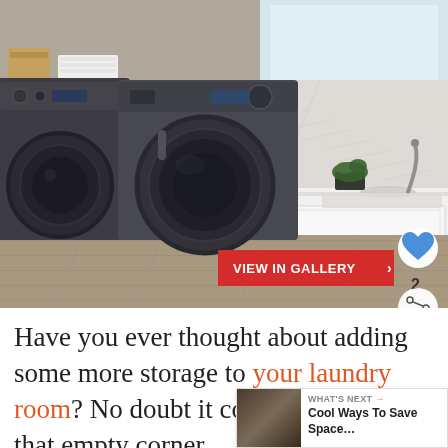[Figure (photo): A modern laundry room with gray front-loading washer and dryer on the left, white shaker-style cabinetry with brushed nickel hardware and a white countertop with farmhouse sink on the right, wood-look tile flooring, herringbone tile backsplash, and a window with natural light. A red 'VIEW IN GALLERY' button overlay is in the bottom-right of the photo, along with a heart icon button, number 2, and a share icon.]
Have you ever thought about adding some more storage to your laundry room? No doubt it could use it! Fill that empty corner